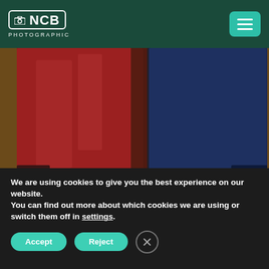NCB PHOTOGRAPHIC
[Figure (photo): Two people standing with their backs to the camera, one wearing a red/burgundy blazer and dark trousers, the other wearing a navy blue suit, standing close together with hands nearly touching, in a warmly lit interior setting.]
We are using cookies to give you the best experience on our website.
You can find out more about which cookies we are using or switch them off in settings.
Accept
Reject